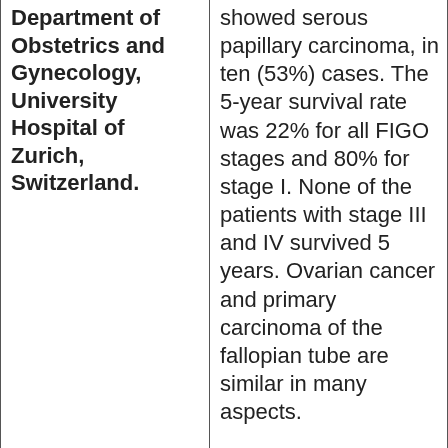Department of Obstetrics and Gynecology, University Hospital of Zurich, Switzerland.
showed serous papillary carcinoma, in ten (53%) cases. The 5-year survival rate was 22% for all FIGO stages and 80% for stage I. None of the patients with stage III and IV survived 5 years. Ovarian cancer and primary carcinoma of the fallopian tube are similar in many aspects.
Both carcinomas have a similar age distribution, show an increase among nulliparous women, are often of serous papillary histology, have a poor prognosis with stage and residual tumor size as important prognostic